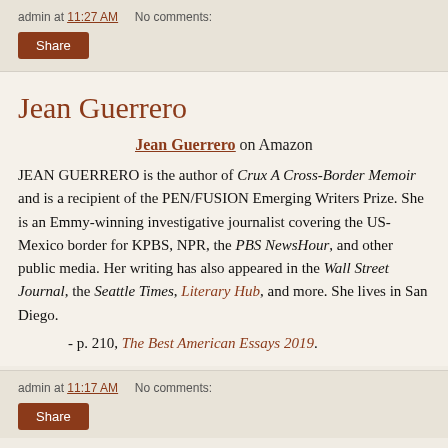admin at 11:27 AM    No comments:
Share
Jean Guerrero
Jean Guerrero on Amazon
JEAN GUERRERO is the author of Crux A Cross-Border Memoir and is a recipient of the PEN/FUSION Emerging Writers Prize. She is an Emmy-winning investigative journalist covering the US-Mexico border for KPBS, NPR, the PBS NewsHour, and other public media. Her writing has also appeared in the Wall Street Journal, the Seattle Times, Literary Hub, and more. She lives in San Diego.
- p. 210, The Best American Essays 2019.
admin at 11:17 AM    No comments: